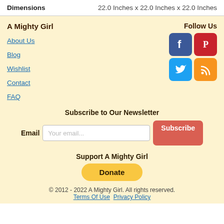| Dimensions |  |
| --- | --- |
| Dimensions | 22.0 Inches x 22.0 Inches x 22.0 Inches |
A Mighty Girl
Follow Us
About Us
Blog
Wishlist
Contact
FAQ
[Figure (infographic): Social media icons: Facebook (blue), Pinterest (red), Twitter (light blue), RSS (orange)]
Subscribe to Our Newsletter
Email  Your email...  Subscribe
Support A Mighty Girl
Donate
© 2012 - 2022 A Mighty Girl. All rights reserved. Terms Of Use  Privacy Policy